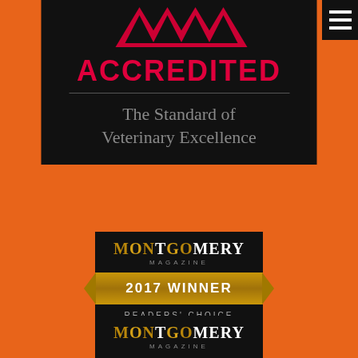[Figure (logo): AAHA Accredited badge on black background with red triangles forming AAHA logo, text 'ACCREDITED' in red, horizontal divider, and 'The Standard of Veterinary Excellence' in gray]
[Figure (logo): Montgomery Magazine 2017 Winner Readers' Choice award badge on black background with gold ribbon]
[Figure (logo): Montgomery Magazine badge (partial, bottom of page) on black background]